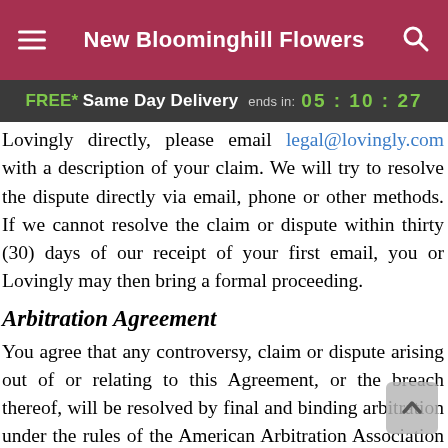New Bloominghill Flowers
FREE* Same Day Delivery ends in: 05 : 10 : 27
Lovingly directly, please email legal@lovingly.com with a description of your claim. We will try to resolve the dispute directly via email, phone or other methods. If we cannot resolve the claim or dispute within thirty (30) days of our receipt of your first email, you or Lovingly may then bring a formal proceeding.
Arbitration Agreement
You agree that any controversy, claim or dispute arising out of or relating to this Agreement, or the breach thereof, will be resolved by final and binding arbitration under the rules of the American Arbitration Association in an arbitration proceeding conducted in White Plains, New York. Except as otherwise provided in this Agreement, both you and Lovingly waive any right to adjudicate any dispute in any other court or forum, except that a party may seek interim relief before the start of arbitration in a state or federal court sitting in White Plains, New York, to protect its confidential information. Both you and Lovingly shall abide by any decision in the arbitration and any court having jurisdiction may enforce it. Both